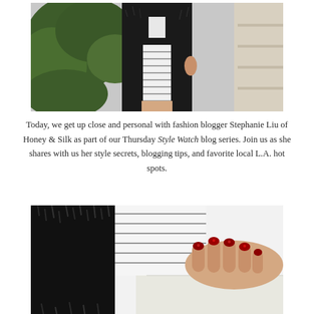[Figure (photo): Fashion blogger Stephanie Liu wearing a black fuzzy/shaggy coat over a white and gray striped dress, standing outdoors with green foliage in the background and stone steps to the right.]
Today, we get up close and personal with fashion blogger Stephanie Liu of Honey & Silk as part of our Thursday Style Watch blog series. Join us as she shares with us her style secrets, blogging tips, and favorite local L.A. hot spots.
[Figure (photo): Close-up detail shot of the black fuzzy coat against a white and gray striped top, with a hand showing red glittery nail polish resting on a white clutch bag.]